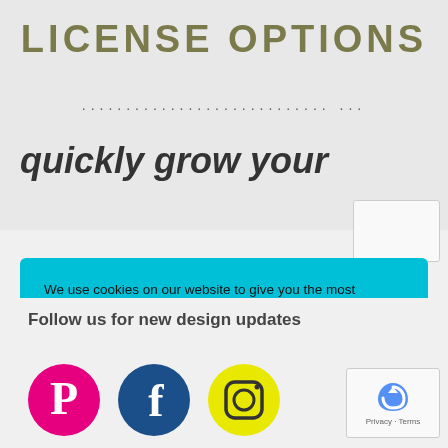LICENSE OPTIONS
quickly grow your
We use cookies on our website to give you the most relevant experience by remembering your preferences and repeat visits. By clicking “Accept”, you consent to the use of ALL the cookies.
Do not sell my personal information.
Follow us for new design updates
[Figure (logo): Pinterest social media icon - pink circle with P logo]
[Figure (logo): Facebook social media icon - dark blue circle with f logo]
[Figure (logo): Instagram social media icon - yellow circle with camera logo]
[Figure (other): Google reCAPTCHA widget with Privacy and Terms links]